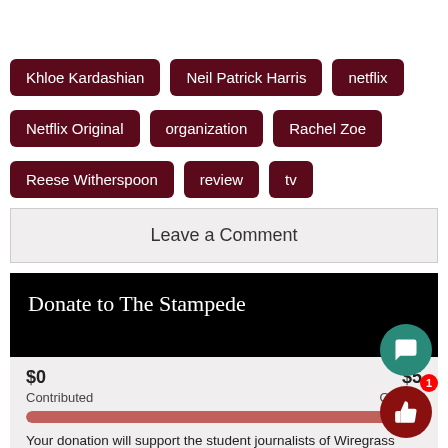Khloe Kardashian
Neil Patrick Harris
netflix
Netflix Original
organization
Rachel Zoe
Reese Witherspoon
review
tv
Leave a Comment
Donate to The Stampede
$0
Contributed
$5
Our Go
Your donation will support the student journalists of Wiregrass